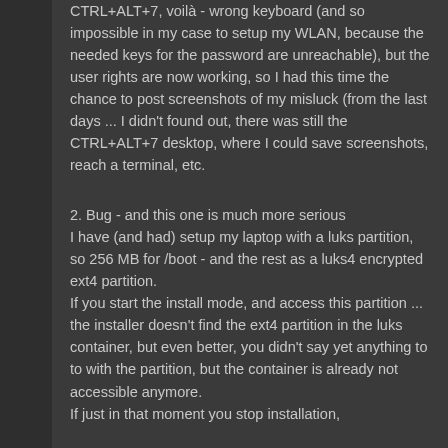CTRL+ALT+7, voilà - wrong keyboard (and so impossible in my case to setup my WLAN, because the needed keys for the password are unreachable), but the user rights are now working, so I had this time the chance to post screenshots of my misluck (from the last days ... I didn't found out, there was still the CTRL+ALT+7 desktop, where I could save screenshots, reach a terminal, etc.
2. Bug - and this one is much more serious I have (and had) setup my laptop with a luks partition, so 256 MB for /boot - and the rest as a luks4 encrypted ext4 partition. If you start the install mode, and access this partition ... the installer doesn't find the ext4 partition in the luks container, but even better, you didn't say yet anything to to with the partition, but the container is already not accessible anymore. If just in that moment you stop installation,